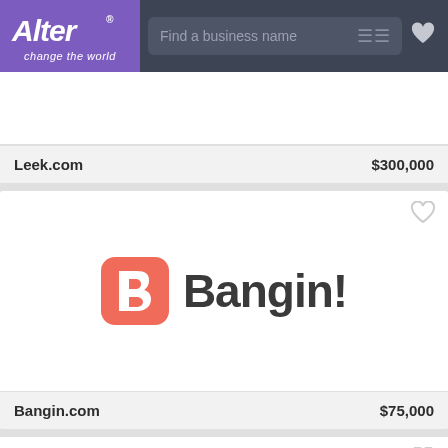[Figure (screenshot): Alter website navigation bar with purple logo saying 'Alter change the world', a search box 'Find a business name', filter icon, and heart icon]
Leek.com    $300,000
[Figure (logo): Bangin! brand logo with red/salmon rounded square icon and bold dark text 'Bangin!']
Bangin.com    $75,000
[Figure (logo): Partial view of a third listing with a blue circular logo element visible at bottom]